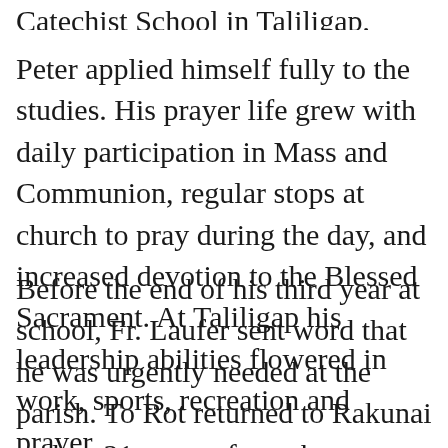Catechist School in Taliligap, staffed by the MSC.
Peter applied himself fully to the studies. His prayer life grew with daily participation in Mass and Communion, regular stops at church to pray during the day, and increased devotion to the Blessed Sacrament. At Taliligap his leadership abilities flowered in work, sports, recreation and prayer.
Before the end of his third year at school, Fr. Laufer sent word that he was urgently needed at the parish. To Rot returned to Rakunai and, at 21 years of age, became the youngest catechist. His main work was teaching in the parish school; but he also visited and prayed with the sick. People liked him